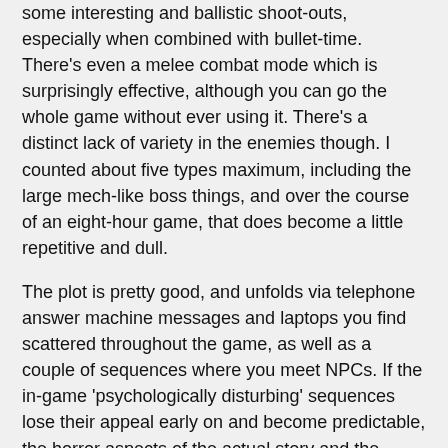some interesting and ballistic shoot-outs, especially when combined with bullet-time. There's even a melee combat mode which is surprisingly effective, although you can go the whole game without ever using it. There's a distinct lack of variety in the enemies though. I counted about five types maximum, including the large mech-like boss things, and over the course of an eight-hour game, that does become a little repetitive and dull.
The plot is pretty good, and unfolds via telephone answer machine messages and laptops you find scattered throughout the game, as well as a couple of sequences where you meet NPCs. If the in-game 'psychologically disturbing' sequences lose their appeal early on and become predictable, the horror aspects of the actual story and the situation (which, as one character helpfully points out, is "Totally fucked up,") are altogether more satisfying.
The best thing about F.E.A.R. is the ending. Because the bulk of the game is a little bit on the predictable side (especially compared to some other shooters reviewed here, such as Far Cry or Half-Life 2), the ending when it comes is even more effective because everything goes haywire and